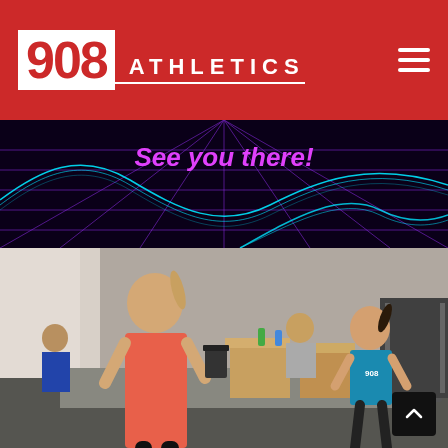908 ATHLETICS
[Figure (illustration): Dark retro grid background with cyan wave lines and the text 'See you there!' in magenta/purple italic font]
[Figure (photo): Two women talking in a CrossFit gym. One wearing a coral/orange tank top with a ponytail, facing another woman in a teal 908 tank top with a ponytail. Background shows wooden plyo boxes, barbell weights, and other gym members.]